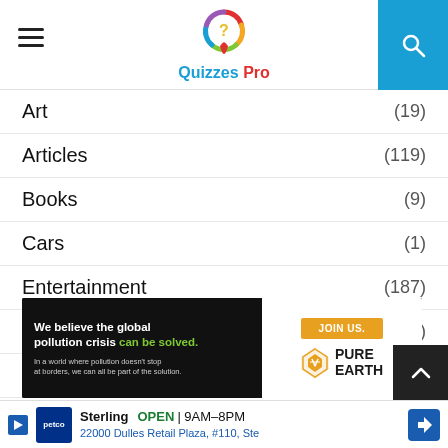Quizzes Pro
Art (19)
Articles (119)
Books (9)
Cars (1)
Entertainment (187)
Food (92)
Games (21)
General (269)
[Figure (photo): Pure Earth advertisement banner: 'We believe the global pollution crisis can be solved.' with JOIN US button and Pure Earth logo]
[Figure (photo): Petco store ad: Sterling, OPEN 9AM-8PM, 22000 Dulles Retail Plaza, #110, Ste]